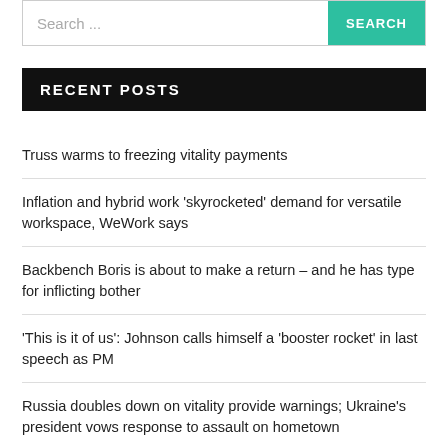Search ...
RECENT POSTS
Truss warms to freezing vitality payments
Inflation and hybrid work 'skyrocketed' demand for versatile workspace, WeWork says
Backbench Boris is about to make a return – and he has type for inflicting bother
'This is it of us': Johnson calls himself a 'booster rocket' in last speech as PM
Russia doubles down on vitality provide warnings; Ukraine's president vows response to assault on hometown